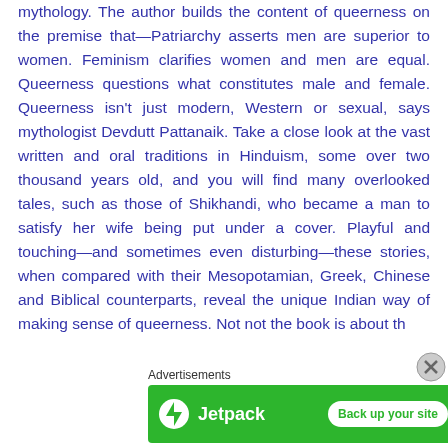mythology. The author builds the content of queerness on the premise that—Patriarchy asserts men are superior to women. Feminism clarifies women and men are equal. Queerness questions what constitutes male and female. Queerness isn't just modern, Western or sexual, says mythologist Devdutt Pattanaik. Take a close look at the vast written and oral traditions in Hinduism, some over two thousand years old, and you will find many overlooked tales, such as those of Shikhandi, who became a man to satisfy her wife being put under a cover. Playful and touching—and sometimes even disturbing—these stories, when compared with their Mesopotamian, Greek, Chinese and Biblical counterparts, reveal the unique Indian way of making sense of queerness. Not not the book is about th
Advertisements
[Figure (infographic): Jetpack advertisement banner with green background showing Jetpack logo and 'Back up your site' button]